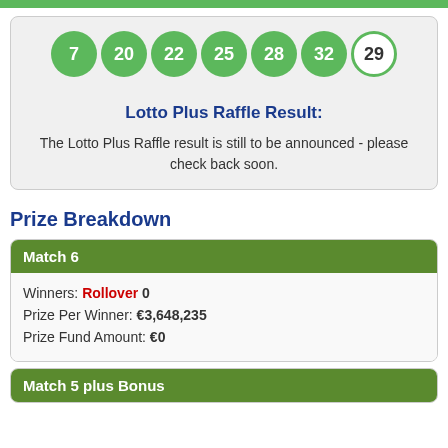[Figure (infographic): Row of 7 lottery balls showing numbers 7, 20, 22, 25, 28, 32 (green) and 29 (white/bonus ball)]
Lotto Plus Raffle Result:
The Lotto Plus Raffle result is still to be announced - please check back soon.
Prize Breakdown
| Match 6 |
| --- |
| Winners: Rollover 0 |
| Prize Per Winner: €3,648,235 |
| Prize Fund Amount: €0 |
Match 5 plus Bonus